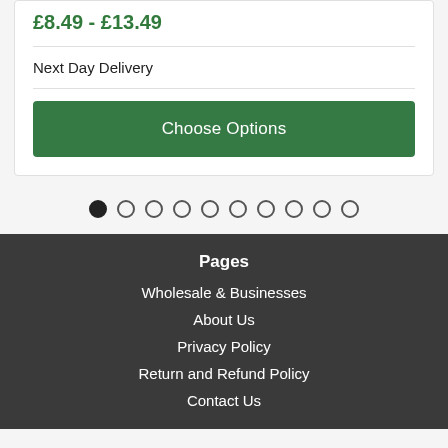£8.49 - £13.49
Next Day Delivery
Choose Options
[Figure (other): Pagination dots: 10 circles, first one filled black, rest are empty outlines]
Pages
Wholesale & Businesses
About Us
Privacy Policy
Return and Refund Policy
Contact Us